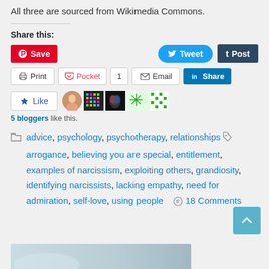All three are sourced from Wikimedia Commons.
Share this:
[Figure (screenshot): Social sharing buttons: Pinterest Save, Tweet, Tumblr Post, Print, Pocket (1), Email, LinkedIn Share]
[Figure (screenshot): Like button with star icon and 5 blogger avatar thumbnails]
5 bloggers like this.
advice, psychology, psychotherapy, relationships arrogance, believing you are special, entitlement, examples of narcissism, exploiting others, grandiosity, identifying narcissists, lacking empathy, need for admiration, self-love, using people   18 Comments
[Figure (screenshot): Scroll to top button (teal upward arrow)]
[Figure (photo): Partial image visible at bottom of page]